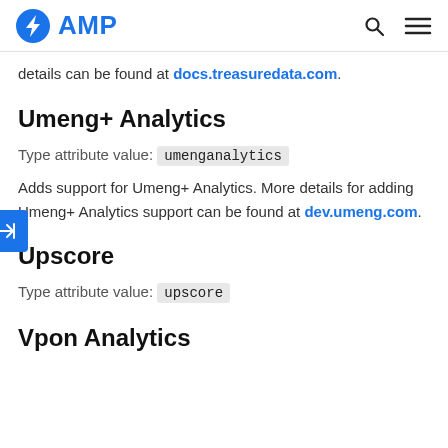AMP
details can be found at docs.treasuredata.com.
Umeng+ Analytics
Type attribute value: umenganalytics
Adds support for Umeng+ Analytics. More details for adding Umeng+ Analytics support can be found at dev.umeng.com.
Upscore
Type attribute value: upscore
Vpon Analytics